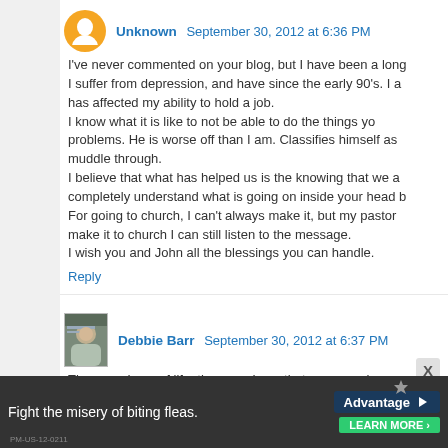Unknown  September 30, 2012 at 6:36 PM
I've never commented on your blog, but I have been a long time reader. I suffer from depression, and have since the early 90's. I also... has affected my ability to hold a job. I know what it is like to not be able to do the things you... problems. He is worse off than I am. Classifies himself as a... muddle through. I believe that what has helped us is the knowing that we ar... completely understand what is going on inside your head b... For going to church, I can't always make it, but my pastor... make it to church I can still listen to the message. I wish you and John all the blessings you can handle.
Reply
Debbie Barr  September 30, 2012 at 6:37 PM
The more I see of life, the more I see that everyone has... always appreciate it when people are willing to open up ab... hugs your way.)
Reply
DaisyCake  September 30, 2012 at 6:38 PM
Fight the misery of biting fleas. Advantage  LEARN MORE